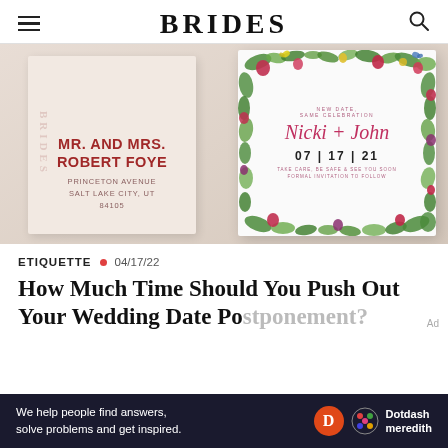BRIDES
[Figure (photo): Wedding save-the-date card showing 'Nicki + John 07 | 17 | 21' with floral border and address envelope showing 'MR. AND MRS. ROBERT FOYE, PRINCETON AVENUE, SALT LAKE CITY, UT 84105']
ETIQUETTE • 04/17/22
How Much Time Should You Push Out Your Wedding Date Postponement?
[Figure (infographic): Dotdash Meredith advertisement banner: 'We help people find answers, solve problems and get inspired. Dotdash meredith']